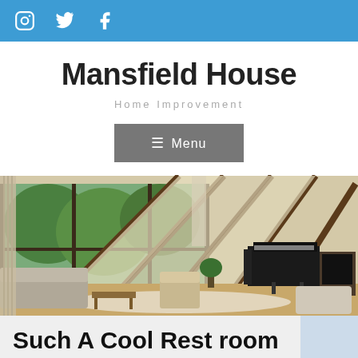Social icons: Instagram, Twitter, Facebook
Mansfield House
Home Improvement
≡ Menu
[Figure (photo): Interior of a mid-century modern home with an A-frame ceiling, large floor-to-ceiling windows overlooking a garden, a grand piano, wooden furniture, and lounge chairs.]
Such A Cool Rest room Idea!!!
Home › Such A Cool Rest room Idea!!!